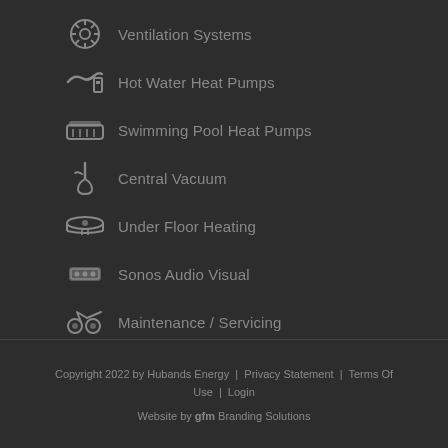Ventilation Systems
Hot Water Heat Pumps
Swimming Pool Heat Pumps
Central Vacuum
Under Floor Heating
Sonos Audio Visual
Maintenance / Servicing
Copyright 2022 by Hubands Energy | Privacy Statement | Terms Of Use | Login
Website by gfm Branding Solutions